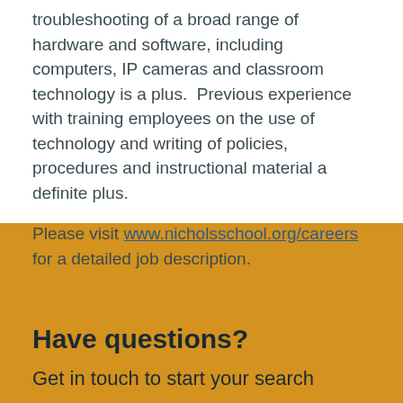troubleshooting of a broad range of hardware and software, including computers, IP cameras and classroom technology is a plus.  Previous experience with training employees on the use of technology and writing of policies, procedures and instructional material a definite plus.
Please visit www.nicholsschool.org/careers for a detailed job description.
Have questions?
Get in touch to start your search